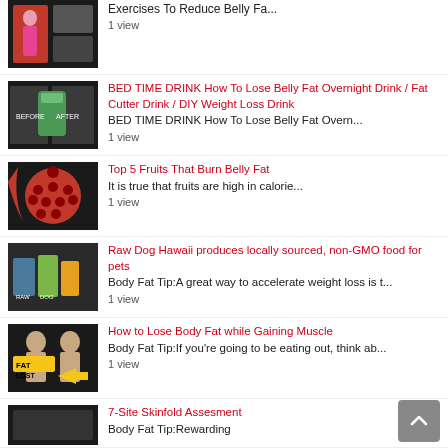Exercises To Reduce Belly Fa... 1 view
BED TIME DRINK How To Lose Belly Fat Overnight Drink / Fat Cutter Drink / DIY Weight Loss Drink BED TIME DRINK How To Lose Belly Fat Overn... 1 view
Top 5 Fruits That Burn Belly Fat It is true that fruits are high in calorie... 1 view
Raw Dog Hawaii produces locally sourced, non-GMO food for pets Body Fat Tip:A great way to accelerate weight loss is t... 1 view
How to Lose Body Fat while Gaining Muscle Body Fat Tip:If you're going to be eating out, think ab... 1 view
7-Site Skinfold Assesment Body Fat Tip:Rewarding